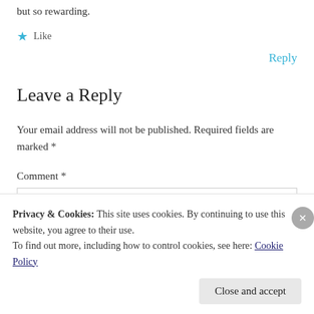but so rewarding.
★ Like
Reply
Leave a Reply
Your email address will not be published. Required fields are marked *
Comment *
Privacy & Cookies: This site uses cookies. By continuing to use this website, you agree to their use.
To find out more, including how to control cookies, see here: Cookie Policy
Close and accept